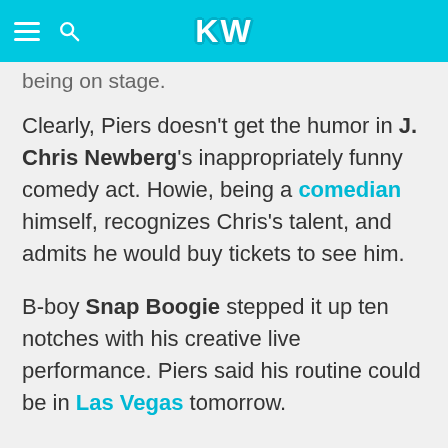KW
being on stage.
Clearly, Piers doesn't get the humor in J. Chris Newberg's inappropriately funny comedy act. Howie, being a comedian himself, recognizes Chris's talent, and admits he would buy tickets to see him.
B-boy Snap Boogie stepped it up ten notches with his creative live performance. Piers said his routine could be in Las Vegas tomorrow.